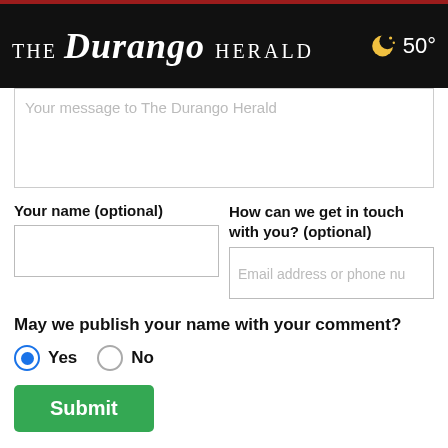THE Durango HERALD  50°
Your message to The Durango Herald
Your name (optional)
How can we get in touch with you? (optional)
Email address or phone nu
May we publish your name with your comment?
Yes   No
Submit
This is part of our effort to drive community conversations. We appreciate your feedback and will use it for future story
MENU   SEARCH   LOGIN